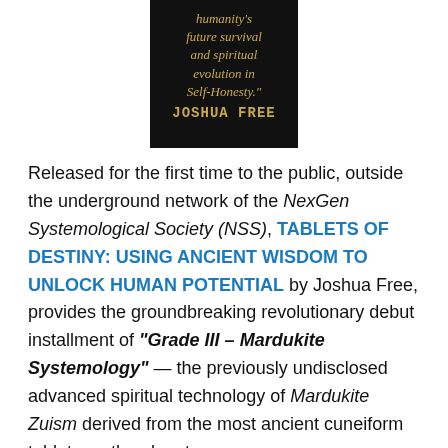[Figure (illustration): Book cover image with dark background showing italic gold text reading "humanity's future survival and spiritual evolution in Self-Honesty." and author name JOSHUA FREE in gold letters]
Released for the first time to the public, outside the underground network of the NexGen Systemological Society (NSS), TABLETS OF DESTINY: USING ANCIENT WISDOM TO UNLOCK HUMAN POTENTIAL by Joshua Free, provides the groundbreaking revolutionary debut installment of "Grade III – Mardukite Systemology" — the previously undisclosed advanced spiritual technology of Mardukite Zuism derived from the most ancient cuneiform tablets on the planet.
In TABLETS OF DESTINY: USING ANCIENT WISDOM